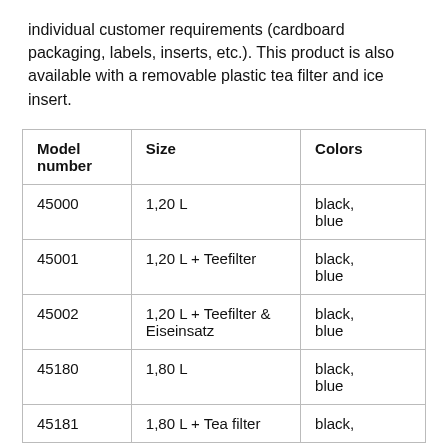individual customer requirements (cardboard packaging, labels, inserts, etc.). This product is also available with a removable plastic tea filter and ice insert.
| Model number | Size | Colors |
| --- | --- | --- |
| 45000 | 1,20 L | black,
blue |
| 45001 | 1,20 L + Teefilter | black,
blue |
| 45002 | 1,20 L + Teefilter &
Eiseinsatz | black,
blue |
| 45180 | 1,80 L | black,
blue |
| 45181 | 1,80 L + Tea filter | black, |